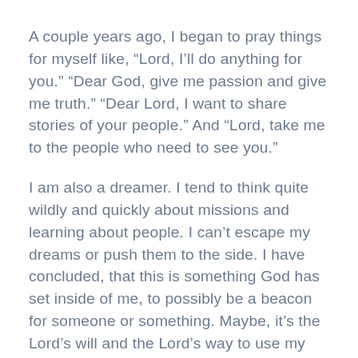A couple years ago, I began to pray things for myself like, “Lord, I’ll do anything for you.” “Dear God, give me passion and give me truth.” “Dear Lord, I want to share stories of your people.” And “Lord, take me to the people who need to see you.”
I am also a dreamer. I tend to think quite wildly and quickly about missions and learning about people. I can’t escape my dreams or push them to the side. I have concluded, that this is something God has set inside of me, to possibly be a beacon for someone or something. Maybe, it’s the Lord’s will and the Lord’s way to use my “dreams and visions” for good and purpose.